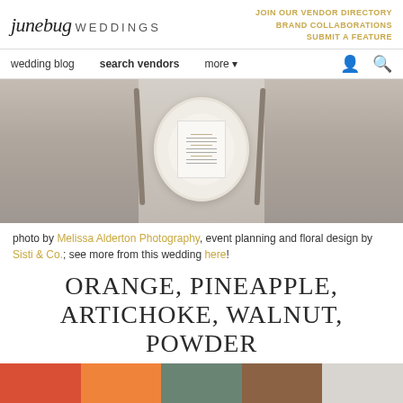junebug WEDDINGS | JOIN OUR VENDOR DIRECTORY | BRAND COLLABORATIONS | SUBMIT A FEATURE
wedding blog | search vendors | more
[Figure (photo): Overhead view of a wedding table place setting with white scalloped plate, menu card, and bronze flatware on a linen gray runner]
photo by Melissa Alderton Photography, event planning and floral design by Sisti & Co.; see more from this wedding here!
ORANGE, PINEAPPLE, ARTICHOKE, WALNUT, POWDER
[Figure (infographic): Color palette swatches: orange-red, pineapple orange, artichoke sage green, walnut brown, powder light gray]